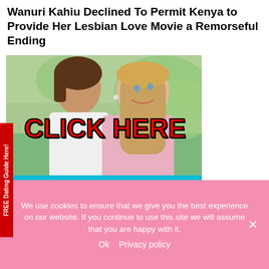Wanuri Kahiu Declined To Permit Kenya to Provide Her Lesbian Love Movie a Remorseful Ending
[Figure (photo): Advertisement banner showing a couple (a person kissing another's cheek) with overlay text 'CLICK HERE' in bold red letters with black outline, and a cyan/teal bottom section with yellow bold text reading 'FREE Dating Guide' and 'Do's and Dont's'. A vertical red tab on the left reads 'FREE Dating Guide Here!'.]
We use cookies to ensure that we give you the best experience on our website. If you continue to use this site we will assume that you are happy with it.
Ok   Privacy policy